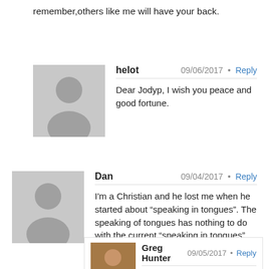remember,others like me will have your back.
helot  09/06/2017  Reply
Dear Jodyp, I wish you peace and good fortune.
Dan  09/04/2017  Reply
I'm a Christian and he lost me when he started about “speaking in tongues”. The speaking of tongues has nothing to do with the current “speaking in tongues” crowd thinks. I was waiting for the snake handling episode but I couldn’t get past his interpreters....take. Oh and there is a book coming out. That explains everything.
Greg Hunter  09/05/2017  Reply
Dan,